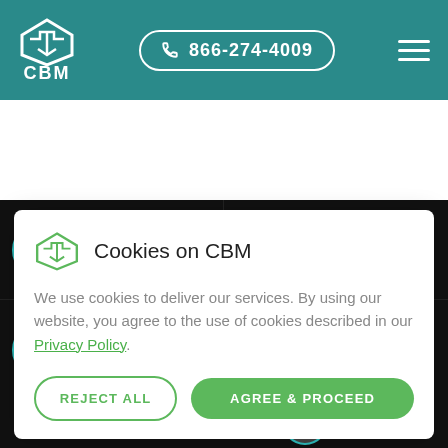CBM — 866-274-4009
[Figure (screenshot): Webinar speaker grid on dark background showing: Matthew Snyder (Assoc. Dir. Engineering & Facilities, CTR for Breakthrough Medicines), Brent Lieffers (Senior Director of Operations, Endgota Solutions), Ross Gold (General Manager, Vanrex Cytiva) - Webinar Speaker, Arsalan Arif (Founder & CEO, Endpoints News) - Moderator]
Cookies on CBM
We use cookies to deliver our services. By using our website, you agree to the use of cookies described in our Privacy Policy.
REJECT ALL
AGREE & PROCEED
[Figure (screenshot): Bottom strip showing Endpoints News header and partial webinar speaker thumbnail]